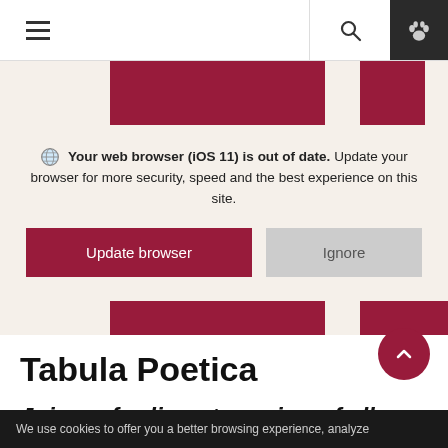Navigation bar with hamburger menu, search icon, and paw icon
[Figure (screenshot): Website header showing red image blocks and a browser update alert overlay with 'Update browser' and 'Ignore' buttons]
Your web browser (iOS 11) is out of date. Update your browser for more security, speed and the best experience on this site.
Update browser  Ignore
on YouTube   Serie
Tabula Poetica
Join us for live-streaming of all our
We use cookies to offer you a better browsing experience, analyze